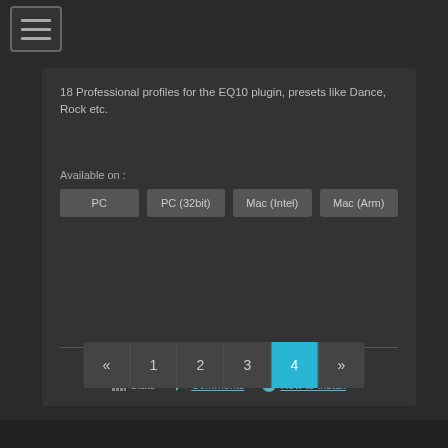[Figure (screenshot): Hamburger menu icon button with three horizontal lines]
18 Professional profiles for the EQ10 plugin, presets like Dance, Rock etc.
Available on :
PC | PC (32bit) | Mac (Intel) | Mac (Arm)
Last update: Mon 19 Jan 15 @ 6:14 pm
Stats   Comments   How to install
« 1 2 3 4 »